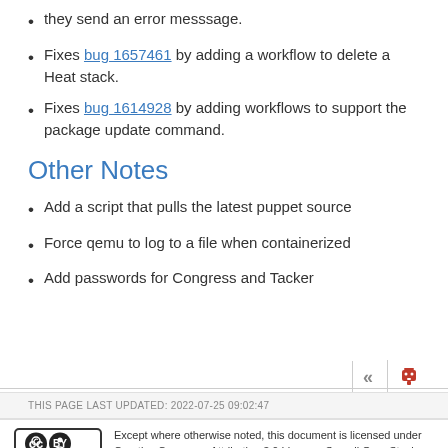they send an error messsage.
Fixes bug 1657461 by adding a workflow to delete a Heat stack.
Fixes bug 1614928 by adding workflows to support the package update command.
Other Notes
Add a script that pulls the latest puppet source
Force qemu to log to a file when containerized
Add passwords for Congress and Tacker
THIS PAGE LAST UPDATED: 2022-07-25 09:02:47
Except where otherwise noted, this document is licensed under Creative Commons Attribution 3.0 License. See all OpenStack Legal Documents.